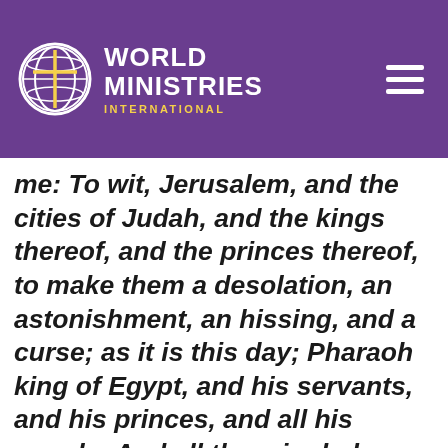World Ministries International
of the sword that I will send among them. Then took I the cup at the Lord's hand, and made all the nations to drink, unto whom the Lord had sent me: To wit, Jerusalem, and the cities of Judah, and the kings thereof, and the princes thereof, to make them a desolation, an astonishment, an hissing, and a curse; as it is this day; Pharaoh king of Egypt, and his servants, and his princes, and all his people; And all the mingled people, and all the kings of the land of Uz, and all the kings of the land of the Philistines, and Ashkelon, and Azzah, and Ekron, and the remnant of Ashdod, Edom, and Moab, and the children of Ammon, And all the kings of Tyrus, and all the kings of Zidon, and the kings of the isles which are beyond the sea, Dedan, and